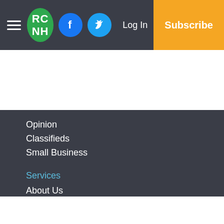RC NH | Log In | Subscribe
Opinion
Classifieds
Small Business
Services
About Us
Subscribe
Terms of Use
Submit a News Tip
Submit a Photo
Birth Announcement
Birthday Announcement
Engagement Announcement
Wedding Announcement
Copyright